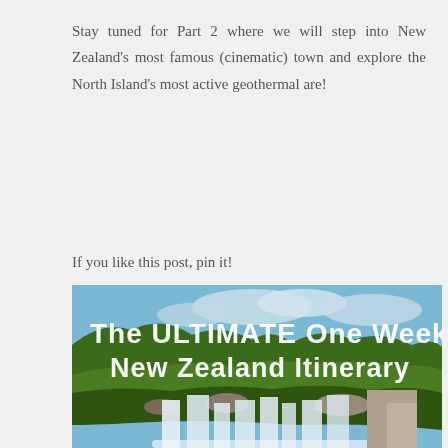Stay tuned for Part 2 where we will step into New Zealand's most famous (cinematic) town and explore the North Island's most active geothermal are!
If you like this post, pin it!
[Figure (photo): Waterfall scene with lush green forest and blue sky, overlaid with white handwritten text reading 'The ULTIMATE One Week New Zealand Itinerary']